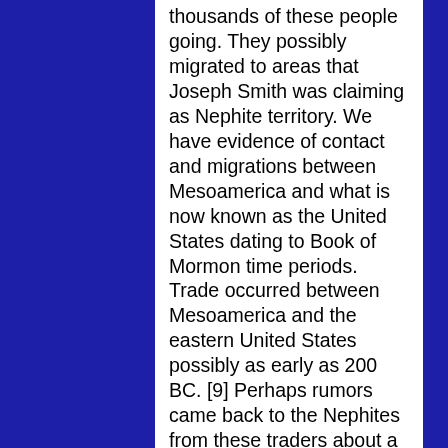thousands of these people going. They possibly migrated to areas that Joseph Smith was claiming as Nephite territory. We have evidence of contact and migrations between Mesoamerica and what is now known as the United States dating to Book of Mormon time periods. Trade occurred between Mesoamerica and the eastern United States possibly as early as 200 BC. [9] Perhaps rumors came back to the Nephites from these traders about a land with good soil and mild summers, which caused these mass migrations northward. Also, many people would probably want to find a new land to live in after years of bloodshed and war with the Lamanites. That is, they may have wanted to escape the continuous warring and move to a